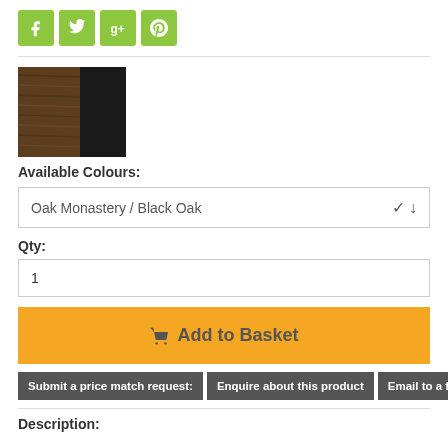[Figure (infographic): Social sharing buttons: Facebook (f), Twitter (bird), Google+ (g+), Pinterest (p) — all green/lime square buttons]
[Figure (photo): Product colour swatch image showing Oak Monastery (wood texture) on left and Black Oak (dark) on right]
Available Colours:
Oak Monastery / Black Oak
Qty:
1
Add to Basket
Submit a price match request:
Enquire about this product
Email to a friend
Description: